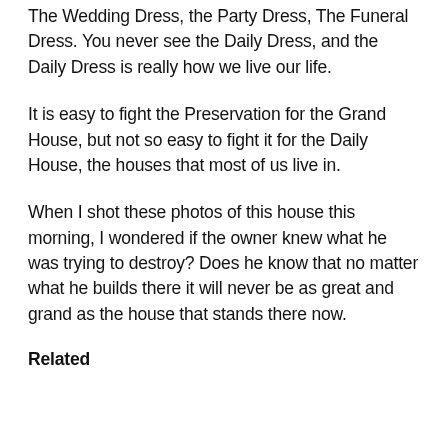The Wedding Dress, the Party Dress, The Funeral Dress. You never see the Daily Dress, and the Daily Dress is really how we live our life.
It is easy to fight the Preservation for the Grand House, but not so easy to fight it for the Daily House, the houses that most of us live in.
When I shot these photos of this house this morning, I wondered if the owner knew what he was trying to destroy? Does he know that no matter what he builds there it will never be as great and grand as the house that stands there now.
Related